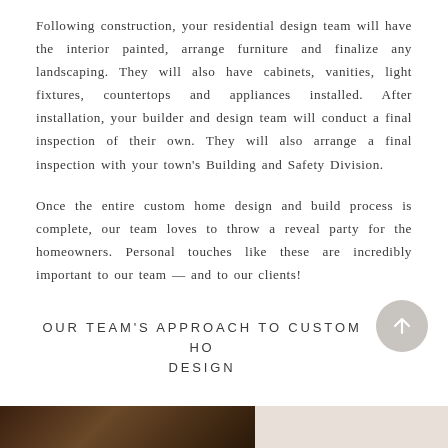Following construction, your residential design team will have the interior painted, arrange furniture and finalize any landscaping. They will also have cabinets, vanities, light fixtures, countertops and appliances installed. After installation, your builder and design team will conduct a final inspection of their own. They will also arrange a final inspection with your town's Building and Safety Division.
Once the entire custom home design and build process is complete, our team loves to throw a reveal party for the homeowners. Personal touches like these are incredibly important to our team — and to our clients!
OUR TEAM'S APPROACH TO CUSTOM HOME DESIGN
[Figure (photo): Bottom strip showing two image panels: left panel is a dark warm-toned interior photo, right panel is a lighter neutral/beige background.]